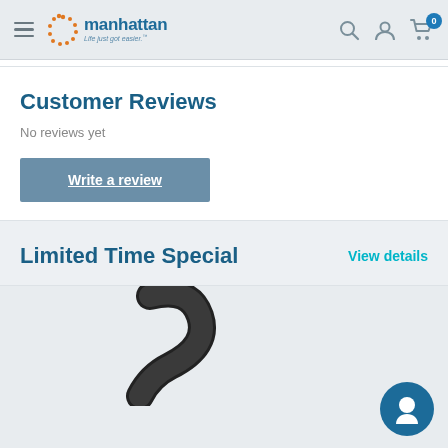Manhattan - Life just got easier. (navigation header with search, account, cart icons)
Customer Reviews
No reviews yet
Write a review
Limited Time Special
View details
[Figure (photo): Partial product image showing a black cable or strap on a light gray background]